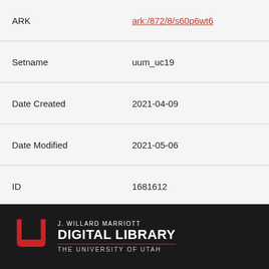| Field | Value |
| --- | --- |
| ARK | ark:/872/8/s60p6wt6 |
| Setname | uum_uc19 |
| Date Created | 2021-04-09 |
| Date Modified | 2021-05-06 |
| ID | 1681612 |
| Reference URL | https://collections.lib.utah.e... |
Back to Search Results
[Figure (logo): J. Willard Marriott Digital Library, The University of Utah logo with red block U on black background]